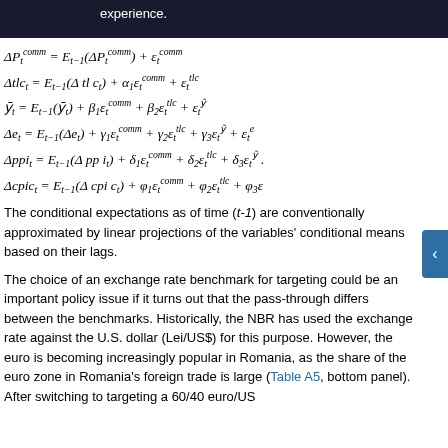experience. follow
The conditional expectations as of time (t-1) are conventionally approximated by linear projections of the variables' conditional means based on their lags.
The choice of an exchange rate benchmark for targeting could be an important policy issue if it turns out that the pass-through differs between the benchmarks. Historically, the NBR has used the exchange rate against the U.S. dollar (Lei/US$) for this purpose. However, the euro is becoming increasingly popular in Romania, as the share of the euro zone in Romania's foreign trade is large (Table A5, bottom panel). After switching to targeting a 60/40 euro/US